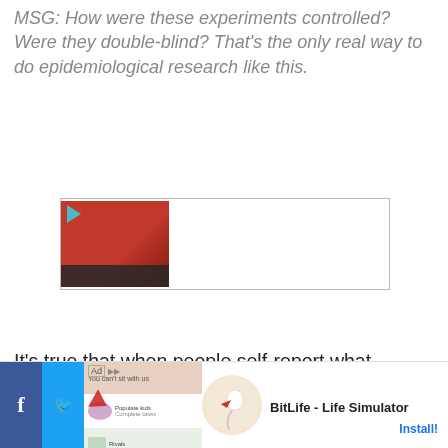MSG: How were these experiments controlled? Were they double-blind? That's the only real way to do epidemiological research like this.
[Figure (other): Embedded video thumbnail with a play button, showing a reddish-brown room interior. The video player box has a dark footer bar and an empty white area to the right.]
It's true that when people self-report what they're
[Figure (other): Advertisement banner at the bottom of the page. Shows a BitLife - Life Simulator ad with app screenshot and sperm icon logo, and an Install! button.]